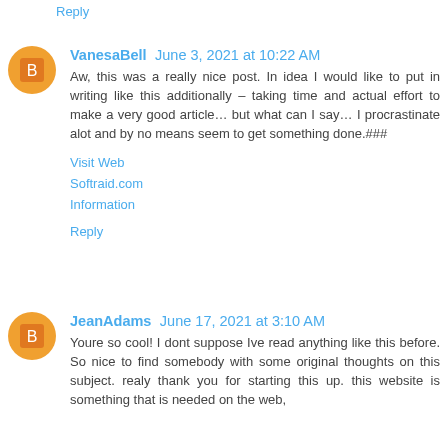Reply
VanesaBell June 3, 2021 at 10:22 AM
Aw, this was a really nice post. In idea I would like to put in writing like this additionally – taking time and actual effort to make a very good article… but what can I say… I procrastinate alot and by no means seem to get something done.###
Visit Web
Softraid.com
Information
Reply
JeanAdams June 17, 2021 at 3:10 AM
Youre so cool! I dont suppose Ive read anything like this before. So nice to find somebody with some original thoughts on this subject. realy thank you for starting this up. this website is something that is needed on the web,